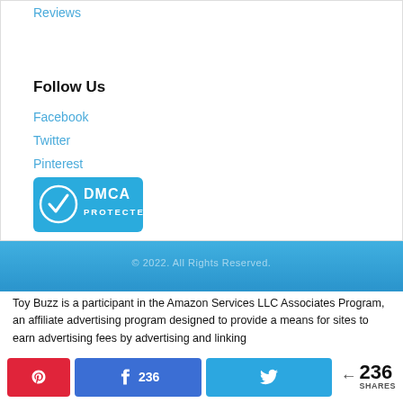Reviews
Follow Us
Facebook
Twitter
Pinterest
[Figure (logo): DMCA Protected badge — blue rectangle with a checkmark circle on the left and 'DMCA PROTECTED' text in white on the right]
© 2022. All Rights Reserved.
Toy Buzz is a participant in the Amazon Services LLC Associates Program, an affiliate advertising program designed to provide a means for sites to earn advertising fees by advertising and linking
236 SHARES